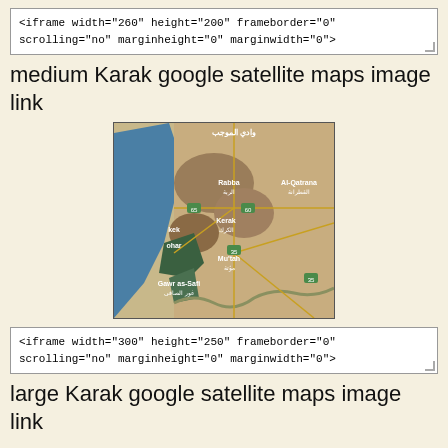<iframe width="260" height="200" frameborder="0" scrolling="no" marginheight="0" marginwidth="0">
medium Karak google satellite maps image link
[Figure (map): Google satellite map centered on Karak, Jordan showing Kerak, Rabba, Al-Qatrana, Mu'tah, Gawr as-Safi locations with road overlays and Arabic place names]
<iframe width="300" height="250" frameborder="0" scrolling="no" marginheight="0" marginwidth="0">
large Karak google satellite maps image link